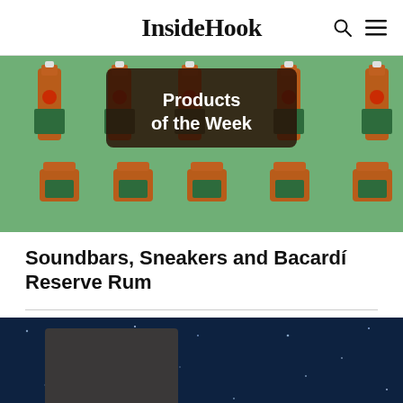InsideHook
[Figure (photo): Banner image showing multiple Bacardí Reserve rum bottles arranged on a green background, with a dark overlay box in the center reading 'Products of the Week' in bold white text.]
Soundbars, Sneakers and Bacardí Reserve Rum
[Figure (photo): Bottom portion of a second article image showing a dark blue starfield/night sky background with what appears to be a dark rectangular object (wallet or case) in the lower left area.]